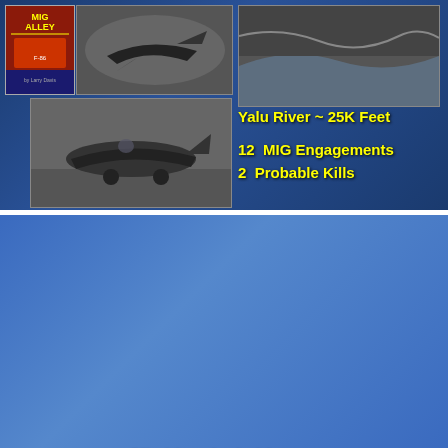[Figure (photo): Top section with blue background showing MIG Alley book cover, jet aircraft photos, aerial river photo, and F-80 aircraft on ground]
Yalu River ~ 25K Feet
12  MIG Engagements
2  Probable Kills
Climbing the ladder to a Distinguished Air Force Career
[Figure (photo): Black and white portrait of Captain Carl G. Schneider in flight gear and white hat]
Captain Carl G. Schneider
Kimpo,Korea
Age 23
KOREA: 100 combat missions, 204 combat hours,  F-80
Distinguished Flying Cross, 1 Oak Leaf Cluster
Air Medal, 6 Oak Leaf Clusters
WW II Victory Medal
Japanese Occupation medal
Korean Service Medal, 4 Bronze Stars,
1 Bronze Arrowhead
U.N. Service Medal